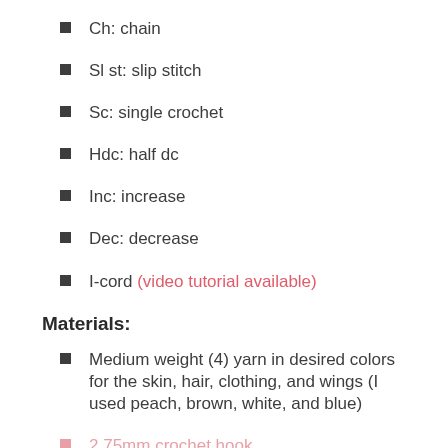Ch: chain
Sl st: slip stitch
Sc: single crochet
Hdc: half dc
Inc: increase
Dec: decrease
I-cord (video tutorial available)
Materials:
Medium weight (4) yarn in desired colors for the skin, hair, clothing, and wings (I used peach, brown, white, and blue)
2.75mm crochet hook